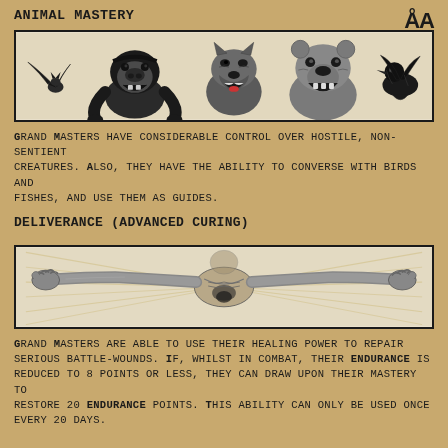Animal Mastery
[Figure (illustration): Horizontal banner illustration showing five wild animals: a bat with spread wings on the left, a gorilla, a wolf, a bear, and a raven/crow on the right, all rendered in black and white ink style.]
Grand Masters have considerable control over hostile, non-sentient creatures. Also, they have the ability to converse with birds and fishes, and use them as guides.
Deliverance (Advanced Curing)
[Figure (illustration): Horizontal banner illustration showing a muscular human figure lying outstretched with arms spread wide, rays of light emanating outward, rendered in black and white ink style suggesting healing energy.]
Grand Masters are able to use their healing power to repair serious battle-wounds. If, whilst in combat, their ENDURANCE is reduced to 8 points or less, they can draw upon their mastery to restore 20 ENDURANCE points. This ability can only be used once every 20 days.